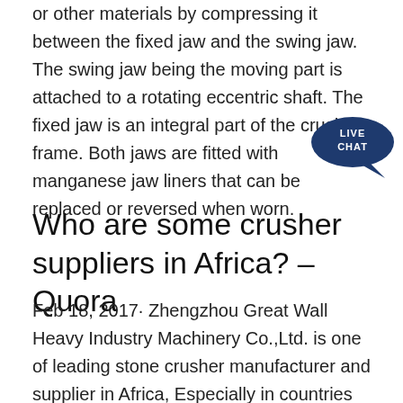or other materials by compressing it between the fixed jaw and the swing jaw. The swing jaw being the moving part is attached to a rotating eccentric shaft. The fixed jaw is an integral part of the crusher frame. Both jaws are fitted with manganese jaw liners that can be replaced or reversed when worn.
Who are some crusher suppliers in Africa? – Quora
Feb 18, 2017· Zhengzhou Great Wall Heavy Industry Machinery Co.,Ltd. is one of leading stone crusher manufacturer and supplier in Africa, Especially in countries of South Africa, Kenya, Zambia, Zimbabwe, Nigeria and Algeria etc. PE 500 x 750 Jaw crusher and PYB...